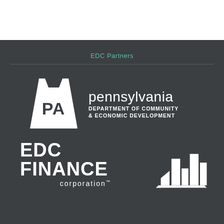EDC Partners
[Figure (logo): Pennsylvania Department of Community & Economic Development logo — white keystone shape with 'PA' text inside, alongside text 'pennsylvania DEPARTMENT OF COMMUNITY & ECONOMIC DEVELOPMENT' on dark background]
[Figure (logo): EDC Finance Corporation logo — white bold text 'EDC FINANCE corporation' with white city skyline bar-chart icon on dark background]